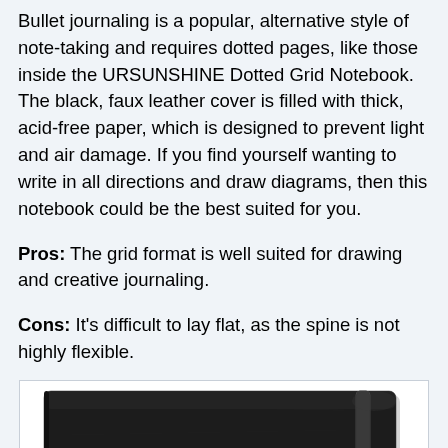Bullet journaling is a popular, alternative style of note-taking and requires dotted pages, like those inside the URSUNSHINE Dotted Grid Notebook. The black, faux leather cover is filled with thick, acid-free paper, which is designed to prevent light and air damage. If you find yourself wanting to write in all directions and draw diagrams, then this notebook could be the best suited for you.
Pros: The grid format is well suited for drawing and creative journaling.
Cons: It's difficult to lay flat, as the spine is not highly flexible.
[Figure (photo): Photo of a black faux leather notebook with an elastic band closure, shown closed from the front/side angle.]